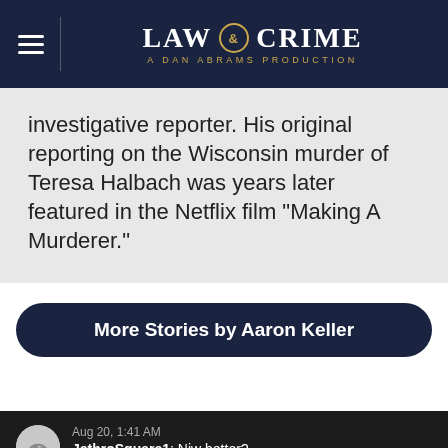LAW & CRIME — A DAN ABRAMS PRODUCTION
investigative reporter. His original reporting on the Wisconsin murder of Teresa Halbach was years later featured in the Netflix film "Making A Murderer."
More Stories by Aaron Keller
Aug 20, 1:41 AM
JethroSquare1: Niw better?
Aug 20, 1:41 AM